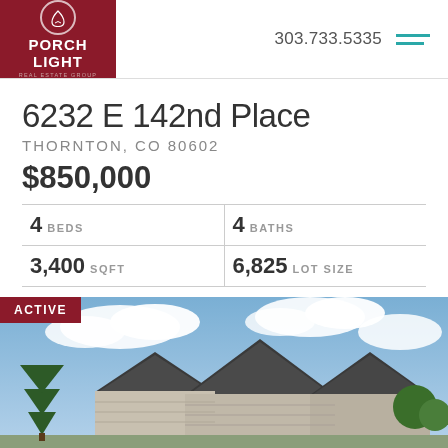[Figure (logo): Porch Light Real Estate Group logo - dark red background with white circle emblem and white text]
303.733.5335
6232 E 142nd Place
THORNTON, CO 80602
$850,000
| 4 BEDS | 4 BATHS |
| 3,400 SQFT | 6,825 LOT SIZE |
ACTIVE
[Figure (photo): Exterior photo of a house with dark roof gables against a blue sky with clouds, with a pine tree on the left and green trees on the right]